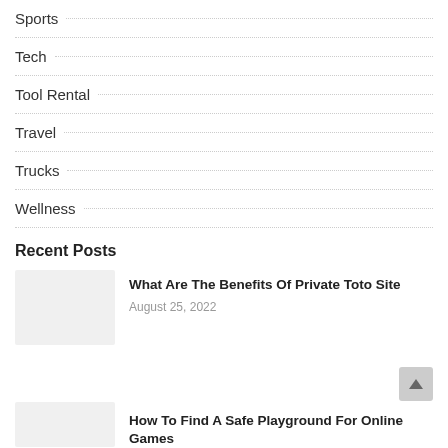Sports
Tech
Tool Rental
Travel
Trucks
Wellness
Recent Posts
What Are The Benefits Of Private Toto Site
August 25, 2022
How To Find A Safe Playground For Online Games